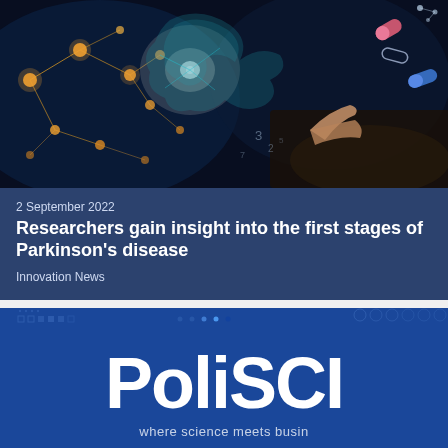[Figure (photo): A glowing neural network visualization with connected nodes and light bursts overlaid on an image of a person's hand pointing, with pill/capsule graphics on a dark blue background.]
2 September 2022
Researchers gain insight into the first stages of Parkinson's disease
Innovation News
[Figure (logo): PoliSCI logo — white bold text on a dark blue background with interface/UI mockup elements visible behind. Subtitle text partially visible: 'where science meets busin...']